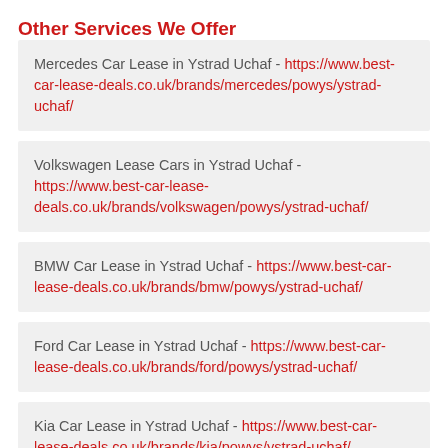Other Services We Offer
Mercedes Car Lease in Ystrad Uchaf - https://www.best-car-lease-deals.co.uk/brands/mercedes/powys/ystrad-uchaf/
Volkswagen Lease Cars in Ystrad Uchaf - https://www.best-car-lease-deals.co.uk/brands/volkswagen/powys/ystrad-uchaf/
BMW Car Lease in Ystrad Uchaf - https://www.best-car-lease-deals.co.uk/brands/bmw/powys/ystrad-uchaf/
Ford Car Lease in Ystrad Uchaf - https://www.best-car-lease-deals.co.uk/brands/ford/powys/ystrad-uchaf/
Kia Car Lease in Ystrad Uchaf - https://www.best-car-lease-deals.co.uk/brands/kia/powys/ystrad-uchaf/
Land Rover Lease Deals in Ystrad Uchaf - https://www.best-car-lease-deals.co.uk/brands/land-rover/powys/ystrad-uchaf/